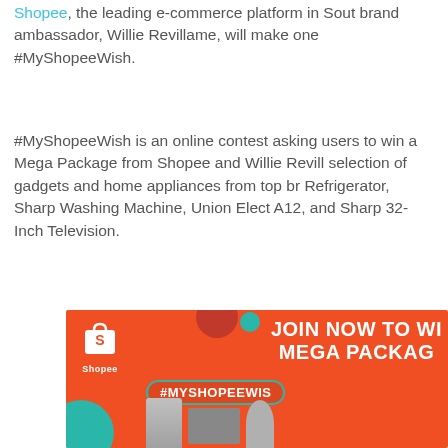Shopee, the leading e-commerce platform in Southeast Asia, brand ambassador, Willie Revillame, will make one #MyShopeeWish.
#MyShopeeWish is an online contest asking users to win a Mega Package from Shopee and Willie Revillame, a selection of gadgets and home appliances from top brands: Refrigerator, Sharp Washing Machine, Union Electronics A12, and Sharp 32-Inch Television.
[Figure (photo): Shopee promotional banner with orange background showing 'JOIN NOW TO WIN MEGA PACKAGE #MYSHOPEEWISH' text with Shopee logo, teal and red decorative circles, and appliance product images including a refrigerator and fan.]